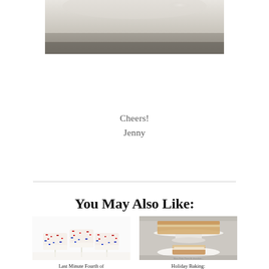[Figure (photo): Partial photo of a ceramic dish or bowl, top portion visible with white/cream tones, slightly blurred background]
Cheers!
Jenny
You May Also Like:
[Figure (photo): Colorful sprinkle-covered marshmallow pops on sticks with red, white, and blue sprinkles]
[Figure (photo): Holiday baked goods on a white cake stand with a slice on a plate, pumpkin eggnog related]
Last Minute Fourth of July Marshmal...
Holiday Baking: Pumpkin Eggnog